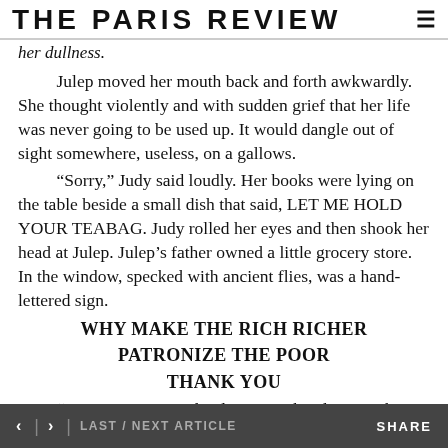THE PARIS REVIEW
her dullness.

Julep moved her mouth back and forth awkwardly. She thought violently and with sudden grief that her life was never going to be used up. It would dangle out of sight somewhere, useless, on a gallows.

“Sorry,” Judy said loudly. Her books were lying on the table beside a small dish that said, LET ME HOLD YOUR TEABAG. Judy rolled her eyes and then shook her head at Julep. Julep’s father owned a little grocery store. In the window, specked with ancient flies, was a hand-lettered sign.
WHY MAKE THE RICH RICHER
PATRONIZE THE POOR
THANK YOU
“How can you stand to live in such a dump?” she
< > LAST / NEXT ARTICLE    SHARE